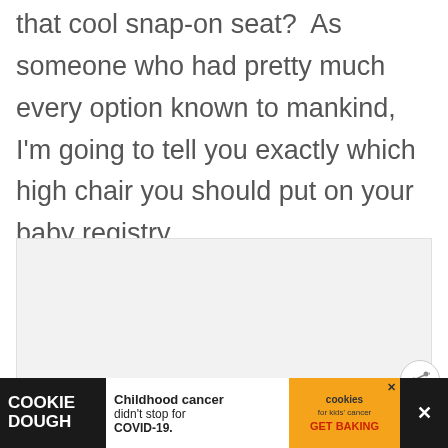that cool snap-on seat?  As someone who had pretty much every option known to mankind, I'm going to tell you exactly which high chair you should put on your baby registry.
[Figure (other): Light gray placeholder image area (content image loading or blank)]
[Figure (infographic): Advertisement banner at bottom: COOKIE DOUGH text on black background, 'Childhood cancer didn't stop for COVID-19.' in middle on white, cookies for kids cancer logo and GET BAKING on orange background, close button on right.]